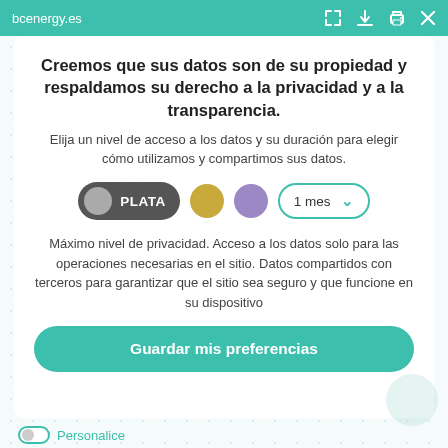bcenergy.es
Creemos que sus datos son de su propiedad y respaldamos su derecho a la privacidad y a la transparencia.
Elija un nivel de acceso a los datos y su duración para elegir cómo utilizamos y compartimos sus datos.
[Figure (infographic): Privacy level selector row with PLATA (silver) toggle pill selected, gold circle, purple circle, and '1 mes' dropdown with teal border and chevron]
Máximo nivel de privacidad. Acceso a los datos solo para las operaciones necesarias en el sitio. Datos compartidos con terceros para garantizar que el sitio sea seguro y que funcione en su dispositivo
Guardar mis preferencias
Personalice